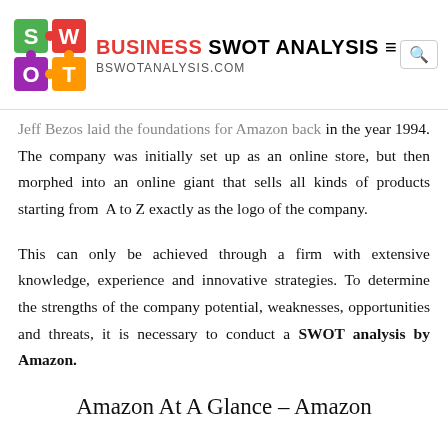BUSINESS SWOT ANALYSIS — BSWOTANALYSIS.COM
Jeff Bezos laid the foundations for Amazon back in the year 1994. The company was initially set up as an online store, but then morphed into an online giant that sells all kinds of products starting from A to Z exactly as the logo of the company.
This can only be achieved through a firm with extensive knowledge, experience and innovative strategies. To determine the strengths of the company potential, weaknesses, opportunities and threats, it is necessary to conduct a SWOT analysis by Amazon.
Amazon At A Glance – Amazon